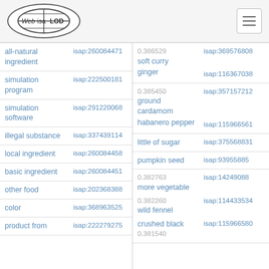Web isa LOD
| Term | ID | Score / Related Term | Related ID |
| --- | --- | --- | --- |
| all-natural ingredient | isap:260084471 | 0.386529
soft curry | isap:369576808 |
| simulation program | isap:222500181 | ginger | isap:116367038 |
| simulation software | isap:291220068 | 0.385450
ground cardamom | isap:357157212 |
| illegal substance | isap:337439114 | habanero pepper | isap:115966561 |
|  |  | little of sugar | isap:375568831 |
| local ingredient | isap:260084458 | pumpkin seed | isap:93955885 |
| basic ingredient | isap:260084451 | 0.382763
more vegetable | isap:14249088 |
| other food | isap:202368388 | 0.382260
wild fennel | isap:114433534 |
| color | isap:368963525 | crushed black | isap:115966580 |
| product from | isap:222279275 | 0.381540 |  |